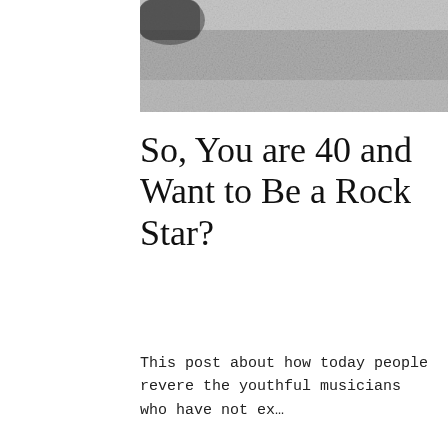[Figure (photo): Top portion of a black and white photo showing what appears to be a fuzzy or textured surface, cropped at top of page]
So, You are 40 and Want to Be a Rock Star?
This post about how today people revere the youthful musicians who have not ex…
[Figure (photo): Photo of a young man with brown hair against a gray background, with cursive white text overlay reading 'Dear Daddy,']